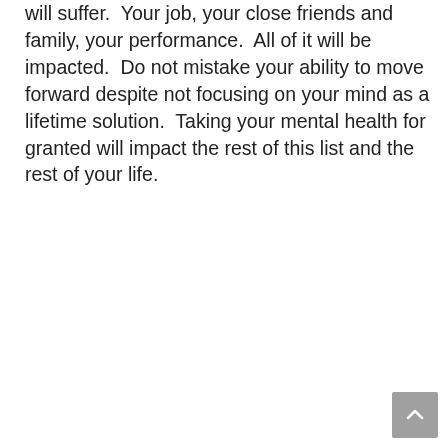will suffer.  Your job, your close friends and family, your performance.  All of it will be impacted.  Do not mistake your ability to move forward despite not focusing on your mind as a lifetime solution.  Taking your mental health for granted will impact the rest of this list and the rest of your life.